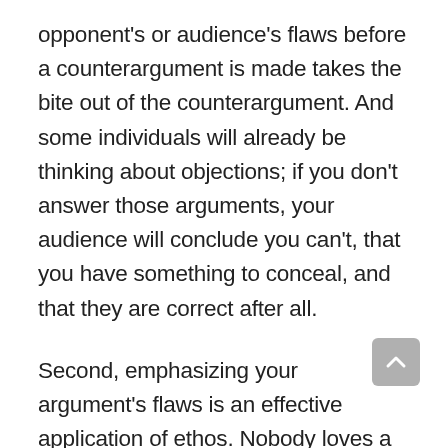opponent's or audience's flaws before a counterargument is made takes the bite out of the counterargument. And some individuals will already be thinking about objections; if you don't answer those arguments, your audience will conclude you can't, that you have something to conceal, and that they are correct after all.

Second, emphasizing your argument's flaws is an effective application of ethos. Nobody loves a knucklehead. A little intellectual humility may go a long way toward gaining the audience's trust and like, and so persuading them to